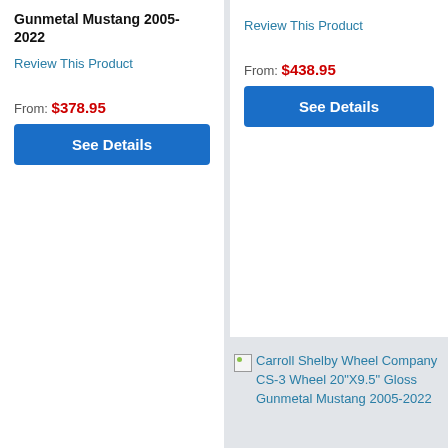Gunmetal Mustang 2005-2022
Review This Product
From: $378.95
See Details
Review This Product
From: $438.95
See Details
[Figure (photo): Broken image placeholder labeled W1248-V]
Carroll Shelby Wheel Company CS-3 Wheel 20"X9.5" Gloss Gunmetal Mustang 2005-2022